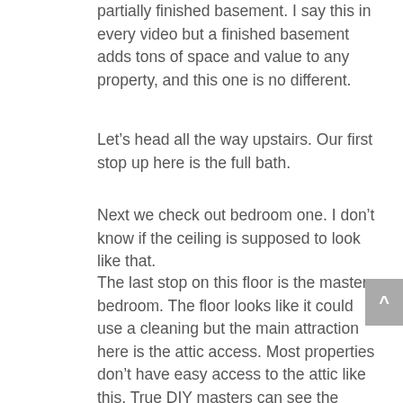partially finished basement. I say this in every video but a finished basement adds tons of space and value to any property, and this one is no different.
Let's head all the way upstairs. Our first stop up here is the full bath.
Next we check out bedroom one. I don't know if the ceiling is supposed to look like that.
The last stop on this floor is the master bedroom. The floor looks like it could use a cleaning but the main attraction here is the attic access. Most properties don't have easy access to the attic like this. True DIY masters can see the potential behind a space like this.
That's it for this tour of 229 Jackson St, Bristol, PA 19007.
If you have any additional questions or would like to set up a showing, give us a call at 267-280-2528 and